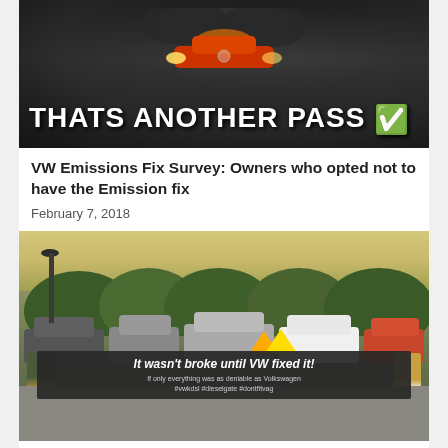[Figure (photo): Meme image of a car emitting dark smoke with text overlay reading 'THATS ANOTHER PASS' with a green checkmark emoji, dark smoky background]
VW Emissions Fix Survey: Owners who opted not to have the Emission fix
February 7, 2018
[Figure (photo): Photo of two people holding a large dark banner in a car park that reads 'It wasn't broke until VW fixed it!' with smaller text below '#vwkdsl #dieselgate #dontfitvag', trees and cars visible in background]